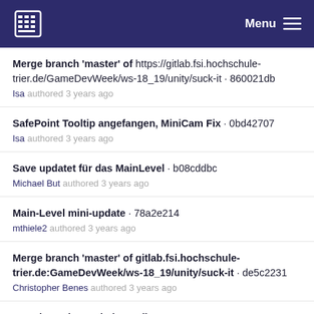Menu
Merge branch 'master' of https://gitlab.fsi.hochschule-trier.de/GameDevWeek/ws-18_19/unity/suck-it · 860021db
Isa authored 3 years ago
SafePoint Tooltip angefangen, MiniCam Fix · 0bd42707
Isa authored 3 years ago
Save updatet für das MainLevel · b08cddbc
Michael But authored 3 years ago
Main-Level mini-update · 78a2e214
mthiele2 authored 3 years ago
Merge branch 'master' of gitlab.fsi.hochschule-trier.de:GameDevWeek/ws-18_19/unity/suck-it · de5c2231
Christopher Benes authored 3 years ago
Save im MainLevel · f0ca7cff
Christopher Benes authored 3 years ago